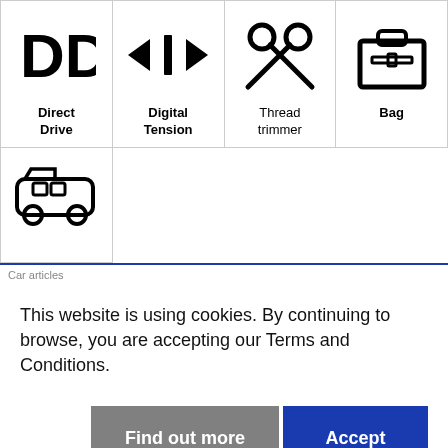[Figure (infographic): Four icon cells in a row: 'DD' text icon labeled Direct Drive, arrows compressing icon labeled Digital Tension, scissors icon labeled Thread trimmer, briefcase/bag icon labeled Bag]
[Figure (infographic): One icon cell with a van/bus icon, partially shown row 2]
Car articles
This website is using cookies. By continuing to browse, you are accepting our Terms and Conditions.
Find out more
Accept
Videos of the se...